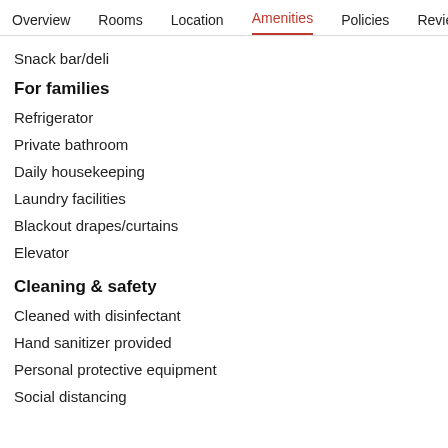Overview  Rooms  Location  Amenities  Policies  Reviews
Snack bar/deli
For families
Refrigerator
Private bathroom
Daily housekeeping
Laundry facilities
Blackout drapes/curtains
Elevator
Cleaning & safety
Cleaned with disinfectant
Hand sanitizer provided
Personal protective equipment
Social distancing